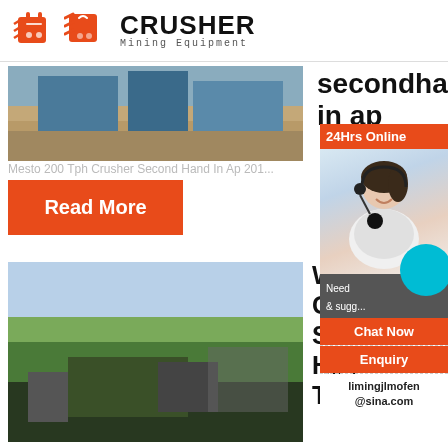[Figure (logo): Crusher Mining Equipment logo with red shopping bag icon and bold CRUSHER text]
[Figure (photo): Industrial mining facility with blue machinery and sandy ground]
secondhand in ap
Mesto 200 Tph Crusher Second Hand In Ap 201...
Read More
[Figure (photo): Aerial view of a large open-pit mining and crushing facility with mountains in background]
Witbo Crush Scree Hire - Trade
[Figure (infographic): 24Hrs Online chat widget with customer service representative photo, Chat Now button, Enquiry section, and email limingjlmofen@sina.com]